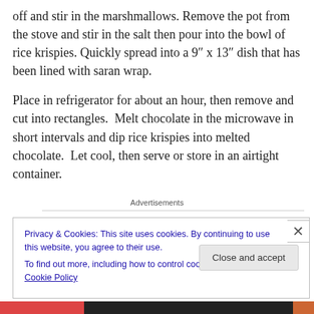off and stir in the marshmallows. Remove the pot from the stove and stir in the salt then pour into the bowl of rice krispies. Quickly spread into a 9″ x 13″ dish that has been lined with saran wrap.
Place in refrigerator for about an hour, then remove and cut into rectangles.  Melt chocolate in the microwave in short intervals and dip rice krispies into melted chocolate.  Let cool, then serve or store in an airtight container.
Advertisements
Privacy & Cookies: This site uses cookies. By continuing to use this website, you agree to their use.
To find out more, including how to control cookies, see here: Cookie Policy
Close and accept